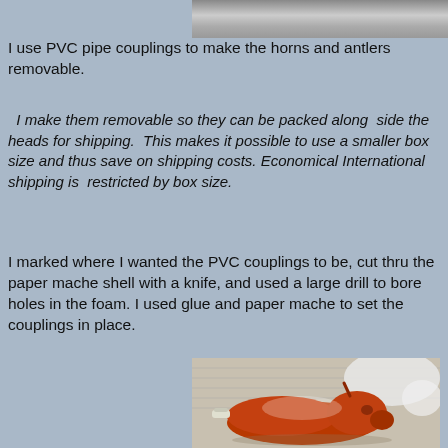[Figure (photo): Partial view of a photo at top showing some equipment or sculpture, cropped at top of page]
I use PVC pipe couplings to make the horns and antlers removable.
I make them removable so they can be packed along side the heads for shipping. This makes it possible to use a smaller box size and thus save on shipping costs. Economical International shipping is restricted by box size.
I marked where I wanted the PVC couplings to be, cut thru the paper mache shell with a knife, and used a large drill to bore holes in the foam. I used glue and paper mache to set the couplings in place.
[Figure (photo): Photo of a paper mache animal head (horned animal) painted orange/red, lying on newspaper, partially covered with white substance, visible PVC coupling stub on the left side]